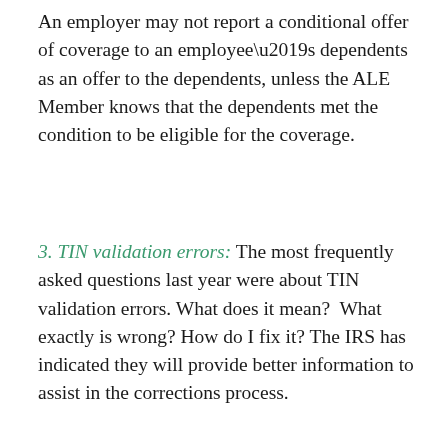An employer may not report a conditional offer of coverage to an employee’s dependents as an offer to the dependents, unless the ALE Member knows that the dependents met the condition to be eligible for the coverage.
3. TIN validation errors: The most frequently asked questions last year were about TIN validation errors. What does it mean?  What exactly is wrong? How do I fix it? The IRS has indicated they will provide better information to assist in the corrections process.